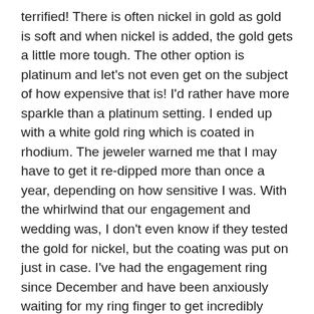terrified! There is often nickel in gold as gold is soft and when nickel is added, the gold gets a little more tough. The other option is platinum and let's not even get on the subject of how expensive that is! I'd rather have more sparkle than a platinum setting. I ended up with a white gold ring which is coated in rhodium. The jeweler warned me that I may have to get it re-dipped more than once a year, depending on how sensitive I was. With the whirlwind that our engagement and wedding was, I don't even know if they tested the gold for nickel, but the coating was put on just in case. I've had the engagement ring since December and have been anxiously waiting for my ring finger to get incredibly itchy but it hasn't happened! I don't know about you, but I'm not taking extra maintenance trips to ANY store if I don't have to!
[Figure (other): Small document/page icon at the bottom left]